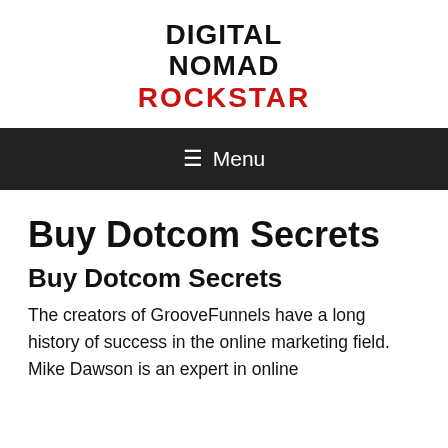DIGITAL NOMAD ROCKSTAR
Menu
Buy Dotcom Secrets
Buy Dotcom Secrets
The creators of GrooveFunnels have a long history of success in the online marketing field. Mike Dawson is an expert in online